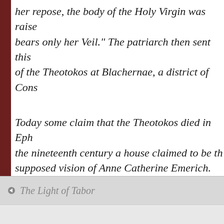her repose, the body of the Holy Virgin was raised ... bears only her Veil." The patriarch then sent this ... of the Theotokos at Blachernae, a district of Cons...
Today some claim that the Theotokos died in Eph... the nineteenth century a house claimed to be th... supposed vision of Anne Catherine Emerich. Thi... any early tradition connecting Mary's death and ...
The Light of Tabor